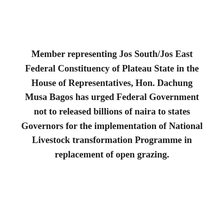Member representing Jos South/Jos East Federal Constituency of Plateau State in the House of Representatives, Hon. Dachung Musa Bagos has urged Federal Government not to released billions of naira to states Governors for the implementation of National Livestock transformation Programme in replacement of open grazing.